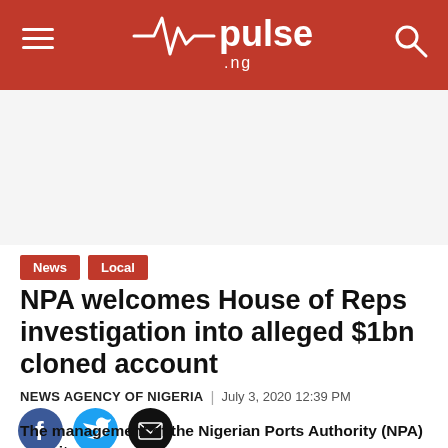pulse.ng
[Figure (other): Advertisement / blank area below header]
News | Local
NPA welcomes House of Reps investigation into alleged $1bn cloned account
NEWS AGENCY OF NIGERIA | July 3, 2020 12:39 PM
[Figure (other): Social share icons: Facebook, Twitter, Email]
The management of the Nigerian Ports Authority (NPA) says it welcomes an investigation by the